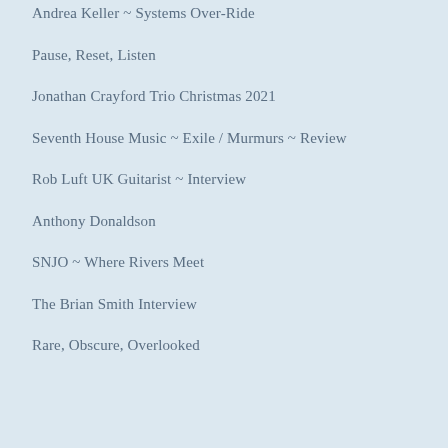Andrea Keller ~ Systems Over-Ride
Pause, Reset, Listen
Jonathan Crayford Trio Christmas 2021
Seventh House Music ~ Exile / Murmurs ~ Review
Rob Luft UK Guitarist ~ Interview
Anthony Donaldson
SNJO ~ Where Rivers Meet
The Brian Smith Interview
Rare, Obscure, Overlooked